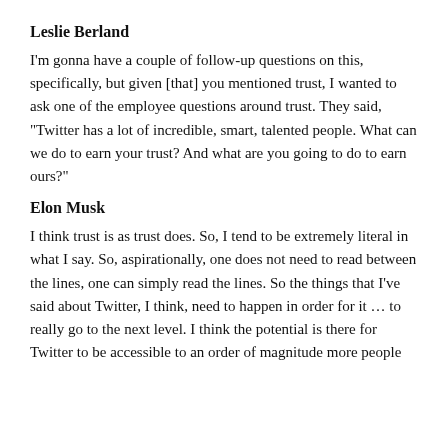Leslie Berland
I'm gonna have a couple of follow-up questions on this, specifically, but given [that] you mentioned trust, I wanted to ask one of the employee questions around trust. They said, “Twitter has a lot of incredible, smart, talented people. What can we do to earn your trust? And what are you going to do to earn ours?”
Elon Musk
I think trust is as trust does. So, I tend to be extremely literal in what I say. So, aspirationally, one does not need to read between the lines, one can simply read the lines. So the things that I’ve said about Twitter, I think, need to happen in order for it … to really go to the next level. I think the potential is there for Twitter to be accessible to an order of magnitude more people